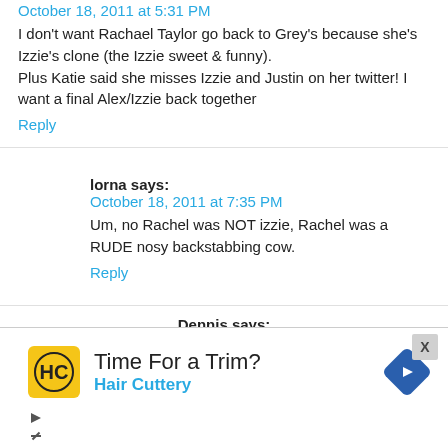October 18, 2011 at 5:31 PM
I don't want Rachael Taylor go back to Grey's because she's Izzie's clone (the Izzie sweet & funny).
Plus Katie said she misses Izzie and Justin on her twitter! I want a final Alex/Izzie back together
Reply
lorna says:
October 18, 2011 at 7:35 PM
Um, no Rachel was NOT izzie, Rachel was a RUDE nosy backstabbing cow.
Reply
Dennis says:
[Figure (infographic): Advertisement banner for Hair Cuttery with yellow logo, 'Time For a Trim?' text, Hair Cuttery name in blue, and a blue diamond navigation arrow icon. Has an X close button and media controls.]